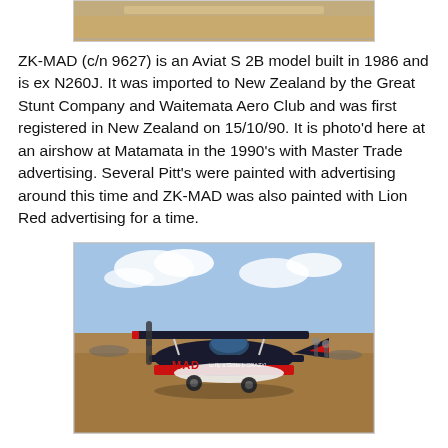[Figure (photo): Top portion of a photograph showing a biplane at an airshow, partially cropped at top of page.]
ZK-MAD (c/n 9627) is an Aviat S 2B model built in 1986 and is ex N260J. It was imported to New Zealand by the Great Stunt Company and Waitemata Aero Club and was first registered in New Zealand on 15/10/90. It is photo'd here at an airshow at Matamata in the 1990's with Master Trade advertising. Several Pitt's were painted with advertising around this time and ZK-MAD was also painted with Lion Red advertising for a time.
[Figure (photo): Photograph of ZK-MAD biplane on the ground at an airshow. The plane has black and red livery with 'MAD' written on the fuselage side. People and other aircraft visible in the background.]
It was sold to Flight 2000 Ltd of Ardmore on 15/12/00, and it is photo'd here at the 2000 AACA flyin at Matamata